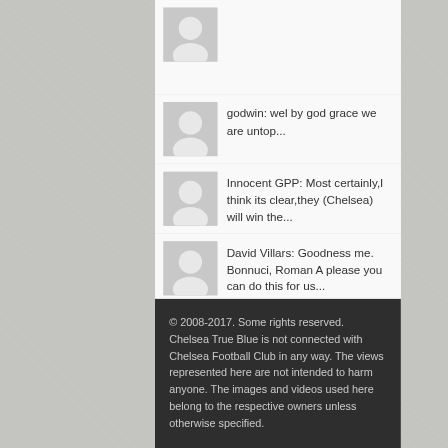[Figure (illustration): Default user avatar placeholder (grey silhouette on grey background)]
godwin: wel by god grace we are untop...
[Figure (illustration): Default user avatar placeholder (grey silhouette on grey background)]
Innocent GPP: Most certainly,I think its clear,they (Chelsea) will win the...
[Figure (illustration): Default user avatar placeholder (grey silhouette on grey background)]
David Villars: Goodness me. Bonnuci, Roman A please you can do this for us...
© 2008-2017. Some rights reserved. Chelsea True Blue is not connected with Chelsea Football Club in any way. The views represented here are not intended to harm anyone. The images and videos used here belong to the respective owners unless otherwise specified.